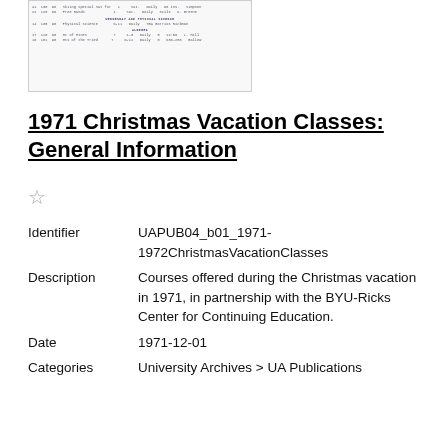[Figure (screenshot): Thumbnail image of a document page showing tabular class schedule data in small monospace text with section headers]
1971 Christmas Vacation Classes: General Information
☆
Identifier    UAPUB04_b01_1971-1972ChristmasVacationClasses
Description  Courses offered during the Christmas vacation in 1971, in partnership with the BYU-Ricks Center for Continuing Education.
Date            1971-12-01
Categories  University Archives > UA Publications